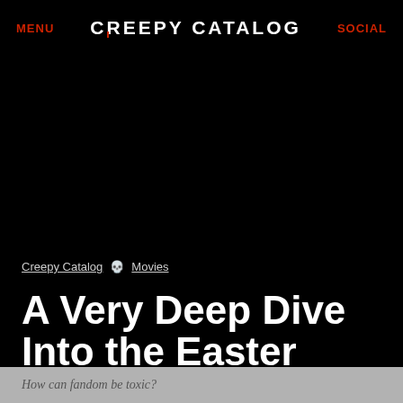MENU   CREEPY CATALOG   SOCIAL
Creepy Catalog 💀 Movies
A Very Deep Dive Into the Easter Eggs and Horror Trivia in the 'Scream' Movie Universe
How can fandom be toxic?